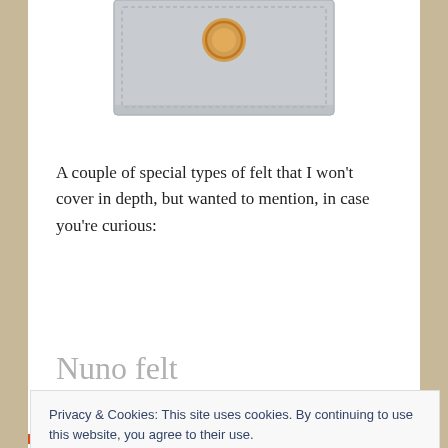[Figure (photo): Partial photo of a gray felt mat/pad with an orange/gold circular embroidered element, on a white background. Only the bottom portion of the item is visible.]
A couple of special types of felt that I won't cover in depth, but wanted to mention, in case you're curious:
Nuno felt
Privacy & Cookies: This site uses cookies. By continuing to use this website, you agree to their use.
To find out more, including how to control cookies, see here: Cookie Policy
Close and accept